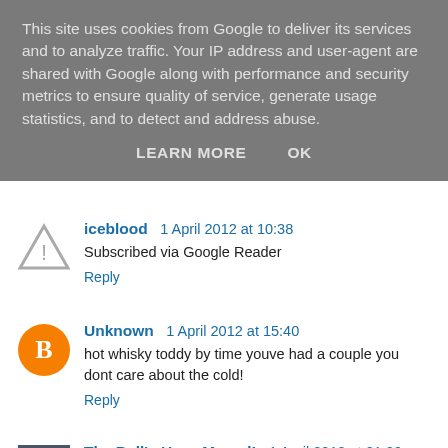This site uses cookies from Google to deliver its services and to analyze traffic. Your IP address and user-agent are shared with Google along with performance and security metrics to ensure quality of service, generate usage statistics, and to detect and address abuse.
LEARN MORE    OK
iceblood  1 April 2012 at 10:38
Subscribed via Google Reader
Reply
Unknown  1 April 2012 at 15:40
hot whisky toddy by time youve had a couple you dont care about the cold!
Reply
The Bell's Have Moved!  1 April 2012 at 21:29